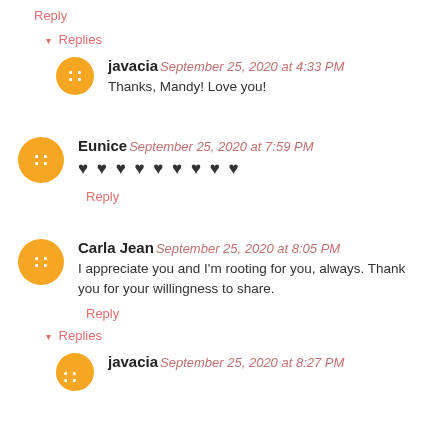Reply
▾ Replies
javacia September 25, 2020 at 4:33 PM
Thanks, Mandy! Love you!
Eunice September 25, 2020 at 7:59 PM
♥♥♥♥♥♥♥♥♥
Reply
Carla Jean September 25, 2020 at 8:05 PM
I appreciate you and I'm rooting for you, always. Thank you for your willingness to share.
Reply
▾ Replies
javacia September 25, 2020 at 8:27 PM